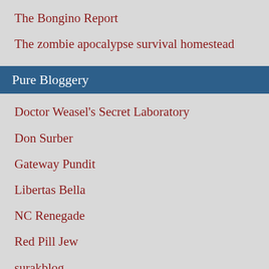The Bongino Report
The zombie apocalypse survival homestead
Pure Bloggery
Doctor Weasel's Secret Laboratory
Don Surber
Gateway Pundit
Libertas Bella
NC Renegade
Red Pill Jew
surakblog
The DiploMad 2.0
The Most Violent Element
The Other McCain